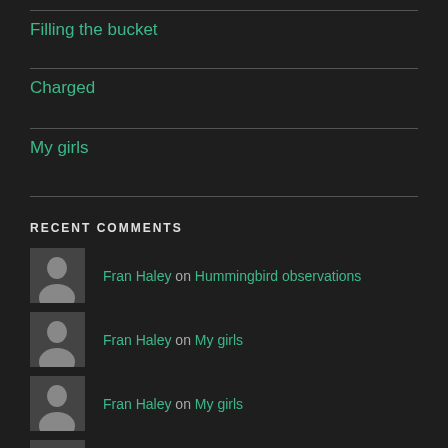Filling the bucket
Charged
My girls
RECENT COMMENTS
Fran Haley on Hummingbird observations
Fran Haley on My girls
Fran Haley on My girls
Fran Haley on Hummingbird observations